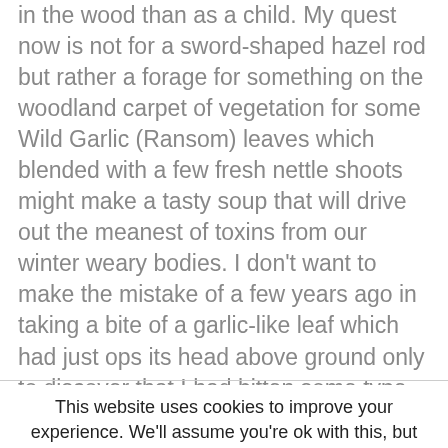in the wood than as a child. My quest now is not for a sword-shaped hazel rod but rather a forage for something on the woodland carpet of vegetation for some Wild Garlic (Ransom) leaves which blended with a few fresh nettle shoots might make a tasty soup that will drive out the meanest of toxins from our winter weary bodies. I don't want to make the mistake of a few years ago in taking a bite of a garlic-like leaf which had just ops its head above ground only to discover that I had bitten some type of fern, which no doubt cured me of something! So a time for everything.
This website uses cookies to improve your experience. We'll assume you're ok with this, but you can opt-out if you wish.
Cookie settings
ACCEPT